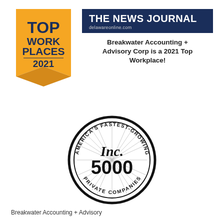[Figure (logo): Top Work Places 2021 badge — gold ribbon/banner shape with 'TOP WORK PLACES' in dark navy bold text and '2021' below, alongside The News Journal dark navy bar with white bold 'THE NEWS JOURNAL' and 'delawareonline.com' subtitle, and bold text 'Breakwater Accounting + Advisory Corp is a 2021 Top Workplace!']
[Figure (logo): Inc. 5000 circular badge — black and white seal with 'AMERICA'S FASTEST-GROWING' around top arc, 'PRIVATE COMPANIES' around bottom arc, radiating lines in background, and 'Inc. 5000' bold text in center]
Breakwater Accounting + Advisory